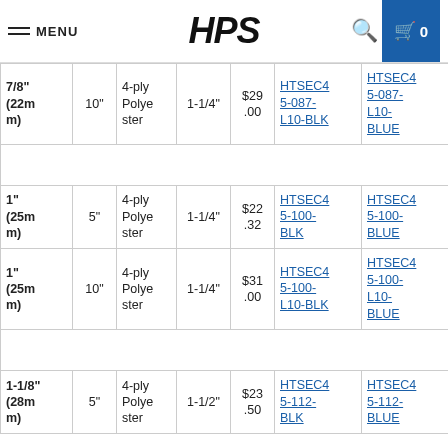MENU | HPS | Search | Cart 0
| Size | Length | Construction | Clamp Size | Price | BLK | BLUE |
| --- | --- | --- | --- | --- | --- | --- |
| 7/8" (22mm) | 10" | 4-ply Polyester | 1-1/4" | $29.00 | HTSEC45-087-L10-BLK | HTSEC45-087-L10-BLUE |
|  |  |  |  |  |  |  |
| 1" (25mm) | 5" | 4-ply Polyester | 1-1/4" | $22.32 | HTSEC45-100-BLK | HTSEC45-100-BLUE |
| 1" (25mm) | 10" | 4-ply Polyester | 1-1/4" | $31.00 | HTSEC45-100-L10-BLK | HTSEC45-100-L10-BLUE |
|  |  |  |  |  |  |  |
| 1-1/8" (28mm) | 5" | 4-ply Polyester | 1-1/2" | $23.50 | HTSEC45-112-BLK | HTSEC45-112-BLUE |